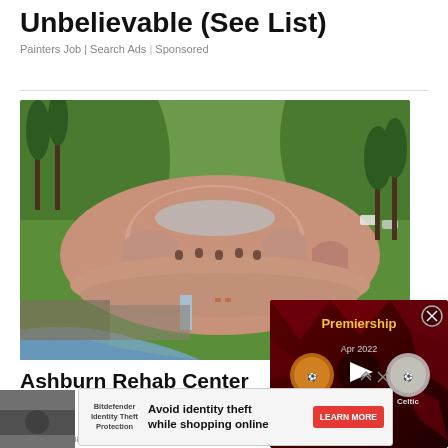Unbelievable (See List)
Painters Job | Search Ads | Sponsored
[Figure (photo): Aerial view of a large circular pink/terracotta building surrounded by green gardens, trees, and a small waterfall/stream. Appears to be a luxury resort or unique architectural building.]
Ashburn Rehab Centers That Actually Exist
Luxury Rehab | Search Ads | Sponsored
[Figure (screenshot): Video overlay showing a Premiership football match: Dundee Utd vs Celtic at Tannadice Park, with a play button in the center on a dark red geometric background. A close button (X) appears in the top right.]
[Figure (screenshot): Advertisement banner: Bitdefender Identity Theft Protection - Avoid identity theft while shopping online - LEARN MORE button]